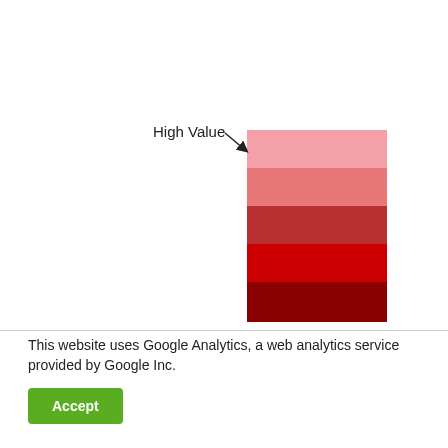[Figure (infographic): A vertical color scale/legend bar showing shades of red from light pink at the top (High Value label with arrow) to dark red/maroon at the bottom. Five color bands visible.]
This website uses Google Analytics, a web analytics service provided by Google Inc.
Accept